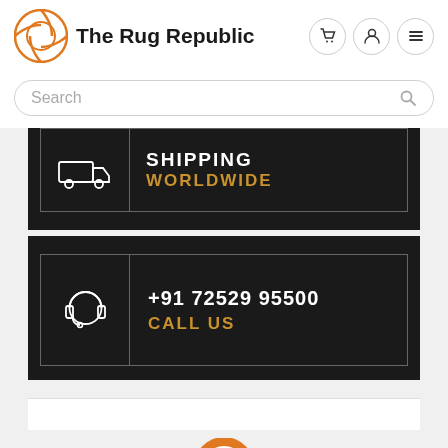[Figure (logo): The Rug Republic logo with orange geometric circle icon and bold brand name text]
Search
[Figure (infographic): Black banner card showing a truck/shipping icon with text SHIPPING WORLDWIDE in white and gold]
[Figure (infographic): Black banner card showing a headset/customer support icon with text +91 72529 95500 and CALL US in white and gold]
[Figure (logo): Partial view of another logo/icon at bottom of page, orange circular emblem partially visible]